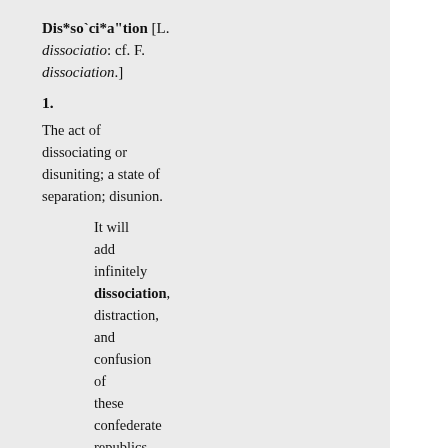Dis*so`ci*a"tion [L. dissociatio: cf. F. dissociation.]
1.
The act of dissociating or disuniting; a state of separation; disunion.
It will add infinitely dissociation, distraction, and confusion of these confederate republics. Burke.
2. Chem.
The process by which a compound body breaks up into simpler constituents; -- said particularly of the action of heat on